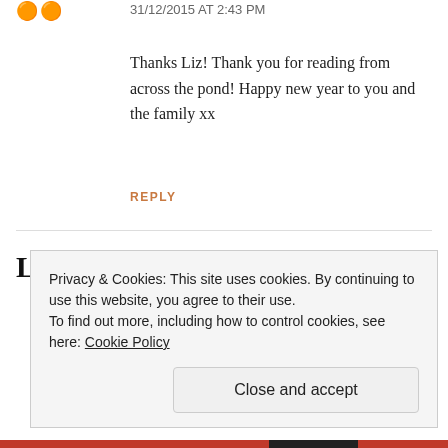31/12/2015 AT 2:43 PM
Thanks Liz! Thank you for reading from across the pond! Happy new year to you and the family xx
REPLY
Leave a Reply
Privacy & Cookies: This site uses cookies. By continuing to use this website, you agree to their use.
To find out more, including how to control cookies, see here: Cookie Policy
Close and accept